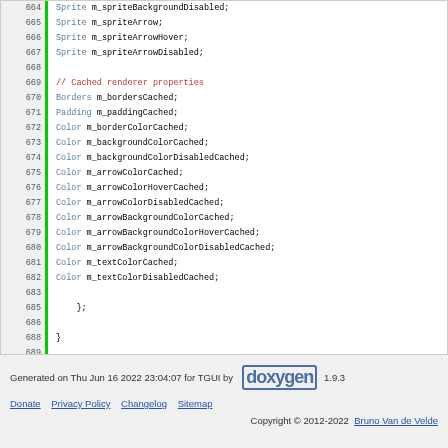Code listing lines 664-693 showing C++ class member declarations including Sprite and Color type members, a comment block, closing braces, and #endif directive
Generated on Thu Jun 16 2022 23:04:07 for TGUI by doxygen 1.9.3
Donate  Privacy Policy  Changelog  Sitemap  Copyright 2012-2022 Bruno Van de Velde